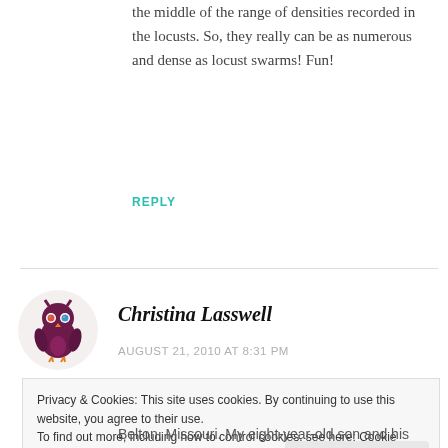the middle of the range of densities recorded in the locusts. So, they really can be as numerous and dense as locust swarms! Fun!
REPLY
[Figure (illustration): Purple owl avatar icon with colorful eyes, circular beige background]
Christina Lasswell
AUGUST 21, 2010 AT 8:31 PM
Privacy & Cookies: This site uses cookies. By continuing to use this website, you agree to their use.
To find out more, including how to control cookies, see here: Cookie Policy
Close and accept
Belton, Missouri. My eight-year-old son and his